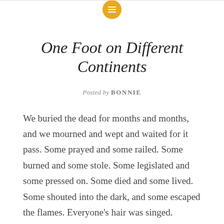[Figure (logo): Yellow/gold circular icon with three horizontal white lines (hamburger/menu icon)]
One Foot on Different Continents
Posted by BONNIE
We buried the dead for months and months, and we mourned and wept and waited for it pass. Some prayed and some railed. Some burned and some stole. Some legislated and some pressed on. Some died and some lived. Some shouted into the dark, and some escaped the flames. Everyone's hair was singed. Everyone looked for someone to blame, but they told us never mind it was bad from the start.
We tried to come back—to live again, but the divide